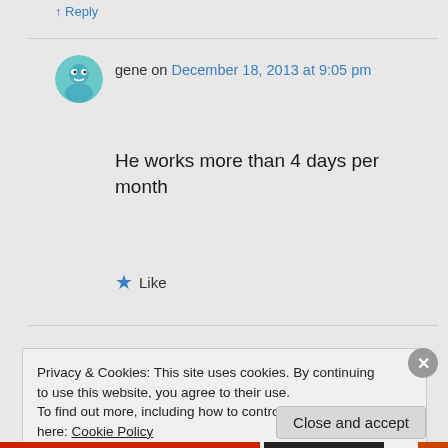↑ Reply
gene on December 18, 2013 at 9:05 pm
He works more than 4 days per month
★ Like
Privacy & Cookies: This site uses cookies. By continuing to use this website, you agree to their use.
To find out more, including how to control cookies, see here: Cookie Policy
Close and accept